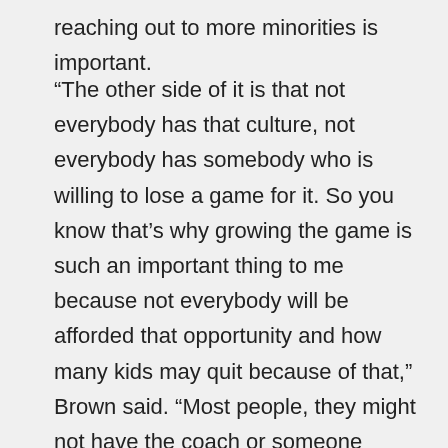reaching out to more minorities is important.
“The other side of it is that not everybody has that culture, not everybody has somebody who is willing to lose a game for it. So you know that’s why growing the game is such an important thing to me because not everybody will be afforded that opportunity and how many kids may quit because of that,” Brown said. “Most people, they might not have the coach or someone sticking up for them. You’ve gotta win. Every team wants to win, every team wants to play the games — I’m sure it might not have been the most popular decision with